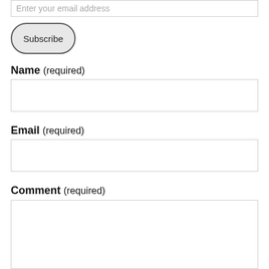Enter your email address
Subscribe
Name (required)
Email (required)
Comment (required)